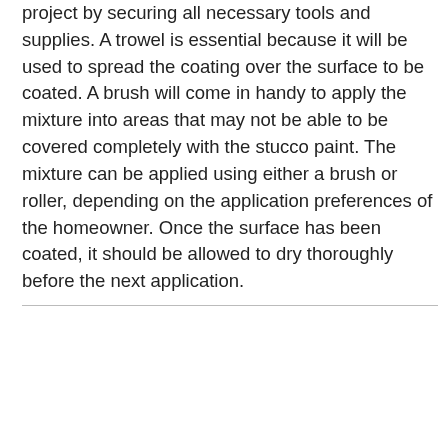project by securing all necessary tools and supplies. A trowel is essential because it will be used to spread the coating over the surface to be coated. A brush will come in handy to apply the mixture into areas that may not be able to be covered completely with the stucco paint. The mixture can be applied using either a brush or roller, depending on the application preferences of the homeowner. Once the surface has been coated, it should be allowed to dry thoroughly before the next application.
| M | T | W | T | F | S | S |
| --- | --- | --- | --- | --- | --- | --- |